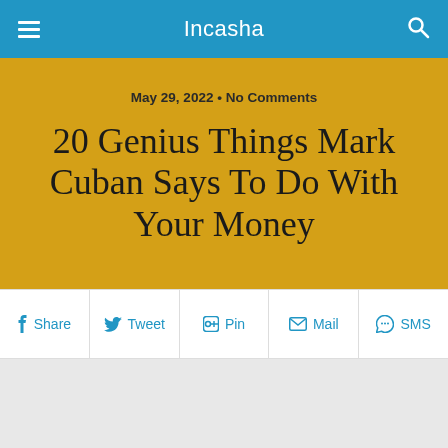Incasha
May 29, 2022 • No Comments
20 Genius Things Mark Cuban Says To Do With Your Money
Share  Tweet  Pin  Mail  SMS